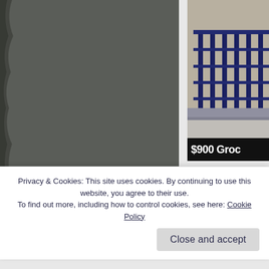[Figure (photo): Large grey/dark image occupying the left portion of the page, appears to be a textured or shadowed surface]
[Figure (photo): Top right photo showing metal railing/fence structure against a textured background]
[Figure (screenshot): Advertisement banner showing '$900 Groc' text on black background]
[Figure (photo): Marvel Strike Force advertisement with purple/yellow styling and Marvel logo]
Privacy & Cookies: This site uses cookies. By continuing to use this website, you agree to their use.
To find out more, including how to control cookies, see here: Cookie Policy
Close and accept